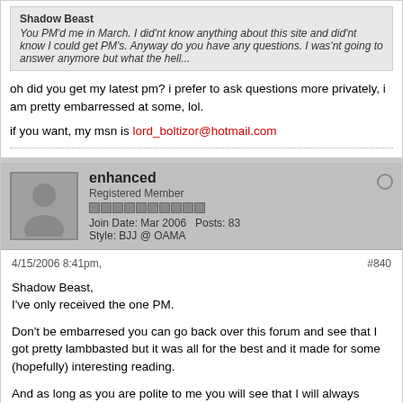Originally posted by enhanced
Shadow Beast
You PM'd me in March. I did'nt know anything about this site and did'nt know I could get PM's. Anyway do you have any questions. I was'nt going to answer anymore but what the hell...
oh did you get my latest pm? i prefer to ask questions more privately, i am pretty embarressed at some, lol.
if you want, my msn is lord_boltizor@hotmail.com
enhanced
Registered Member
Join Date: Mar 2006   Posts: 83
Style: BJJ @ OAMA
4/15/2006 8:41pm,
#840
Shadow Beast,
I've only received the one PM.

Don't be embarresed you can go back over this forum and see that I got pretty lambbasted but it was all for the best and it made for some (hopefully) interesting reading.

And as long as you are polite to me you will see that I will always answer you